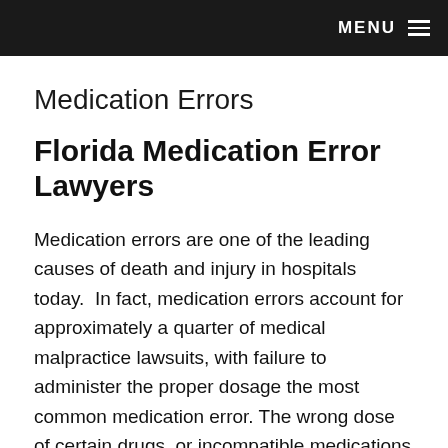MENU
Medication Errors
Florida Medication Error Lawyers
Medication errors are one of the leading causes of death and injury in hospitals today.  In fact, medication errors account for approximately a quarter of medical malpractice lawsuits, with failure to administer the proper dosage the most common medication error. The wrong dose of certain drugs, or incompatible medications taken at the same time, can result in severe adverse reactions, leading to